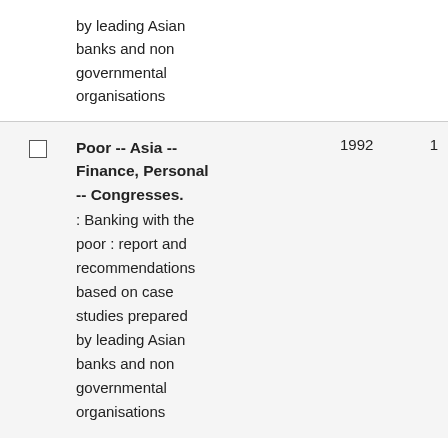by leading Asian banks and non governmental organisations
|  | Title/Description | Year | Count |
| --- | --- | --- | --- |
| ☐ | Poor -- Asia -- Finance, Personal -- Congresses. : Banking with the poor : report and recommendations based on case studies prepared by leading Asian banks and non governmental organisations | 1992 | 1 |